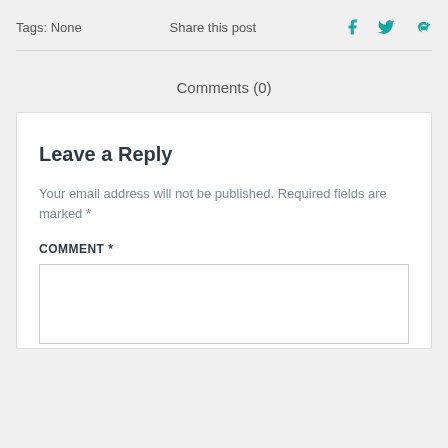Tags: None
Share this post
[Figure (illustration): Social media icons: Facebook (f), Twitter (bird), Google+ (G+) in teal color]
Comments (0)
Leave a Reply
Your email address will not be published. Required fields are marked *
COMMENT *